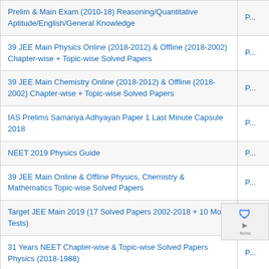| Title | P... |
| --- | --- |
| Prelim & Main Exam (2010-18) Reasoning/Quantitative Aptitude/English/General Knowledge | P... |
| 39 JEE Main Physics Online (2018-2012) & Offline (2018-2002) Chapter-wise + Topic-wise Solved Papers | P... |
| 39 JEE Main Chemistry Online (2018-2012) & Offline (2018-2002) Chapter-wise + Topic-wise Solved Papers | P... |
| IAS Prelims Samanya Adhyayan Paper 1 Last Minute Capsule 2018 | P... |
| NEET 2019 Physics Guide | P... |
| 39 JEE Main Online & Offline Physics, Chemistry & Mathematics Topic-wise Solved Papers | P... |
| Target JEE Main 2019 (17 Solved Papers 2002-2018 + 10 Mock Tests) | P... |
| 31 Years NEET Chapter-wise & Topic-wise Solved Papers Physics (2018-1988) | P... |
| Topic-wise Solved Papers for IBPS/SBI Bank PO/Clerk | P... |